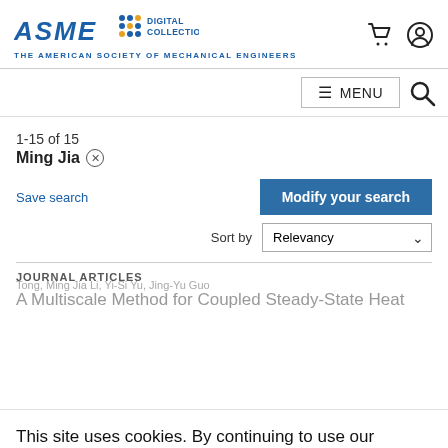ASME Digital Collection – The American Society of Mechanical Engineers
MENU
1-15 of 15
Ming Jia ×
Save search
Modify your search
Sort by Relevancy
JOURNAL ARTICLES
A Multiscale Method for Coupled Steady-State Heat
This site uses cookies. By continuing to use our website, you are agreeing to our privacy policy. Accept
Tong, Ming Jia Li, Yi-Si Yu, Jing-Yu Guo
Journal: Journal of Heat Transfer